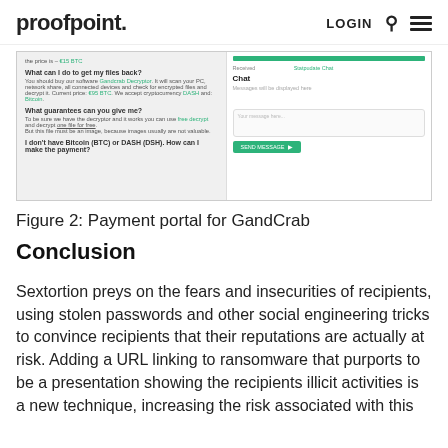proofpoint. LOGIN
[Figure (screenshot): Screenshot of GandCrab payment portal showing FAQ text on the left (What can I do to get my files back?, What guarantees can you give me?, I don't have Bitcoin (BTC) or DASH (DSH). How can I make the payment?) and a chat interface on the right with a green progress bar, Chat label, message area, and send button.]
Figure 2: Payment portal for GandCrab
Conclusion
Sextortion preys on the fears and insecurities of recipients, using stolen passwords and other social engineering tricks to convince recipients that their reputations are actually at risk. Adding a URL linking to ransomware that purports to be a presentation showing the recipients illicit activities is a new technique, increasing the risk associated with this